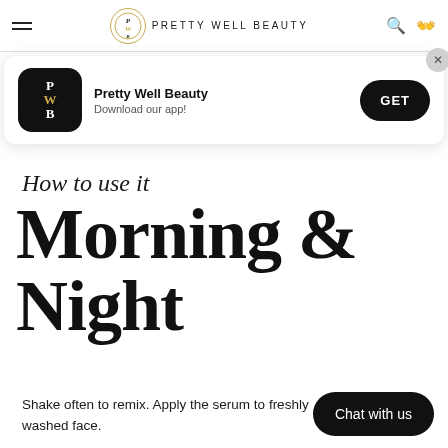Pretty Well Beauty
[Figure (screenshot): App download banner for Pretty Well Beauty app with app icon, name, tagline 'Download our app!' and a GET button]
How to use it
Morning & Night
Shake often to remix. Apply the serum to freshly washed face.